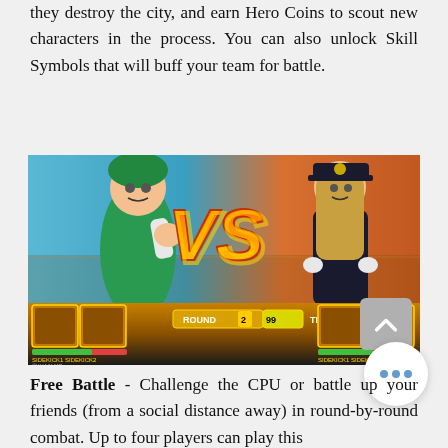they destroy the city, and earn Hero Coins to scout new characters in the process. You can also unlock Skill Symbols that will buff your team for battle.
[Figure (screenshot): Screenshot of a fighting game (My Hero Academia: One's Justice) showing two anime characters facing each other with a large 'VS' graphic in the center, a HUD bar at the bottom showing ROUND 2 and TIME 99, with player icons on each side.]
Free Battle - Challenge the CPU or battle up your friends (from a social distance away) in round-by-round combat. Up to four players can play this